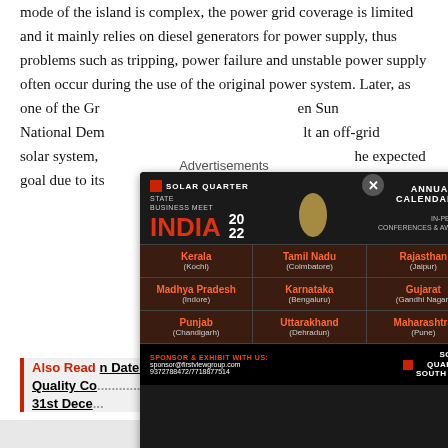mode of the island is complex, the power grid coverage is limited and it mainly relies on diesel generators for power supply, thus problems such as tripping, power failure and unstable power supply often occur during the use of the original power system. Later, as one of the Green Sun National Dem... It an off-grid solar system, ...he expected goal due to its...
Advertisements
[Figure (infographic): Solar Quarter State Business Meet India 2022 advertisement. Annual Calendar 2022, In-Person Conferences & Awards. State grid showing Kerala (Kochi), Tamil Nadu (Coimbatore), Rajasthan (Jaipur), Madhya Pradesh (Indore), Karnataka (Bengaluru), Gujarat (Gandhi Nagar), Punjab (Chandigarh), Uttarakhand (Dehradun), Maharashtra (Pune). Sponsor & Exhibit contact info.]
Also Read ... n Date of Quality Co... ters to 31st Dece...
Advertisements